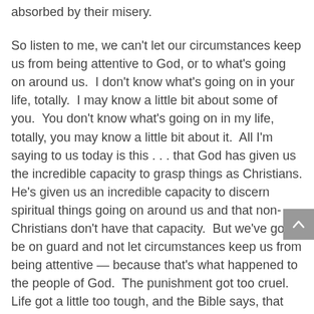absorbed by their misery.

So listen to me, we can't let our circumstances keep us from being attentive to God, or to what's going on around us.  I don't know what's going on in your life, totally.  I may know a little bit about some of you.  You don't know what's going on in my life, totally, you may know a little bit about it.  All I'm saying to us today is this . . . that God has given us the incredible capacity to grasp things as Christians. He's given us an incredible capacity to discern spiritual things going on around us and that non-Christians don't have that capacity.  But we've got to be on guard and not let circumstances keep us from being attentive — because that's what happened to the people of God.  The punishment got too cruel.  Life got a little too tough, and the Bible says, that because of anguish of spirit and cruel bondage they did not heed